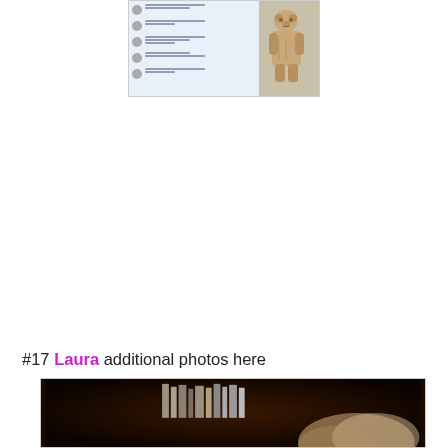[Figure (screenshot): Screenshot of a Twitter feed with a cardboard bear figure propped up against the screen]
#17 Laura additional photos here
[Figure (photo): Dark photo showing a bookshelf with books and what appears to be a person's hair in the foreground]